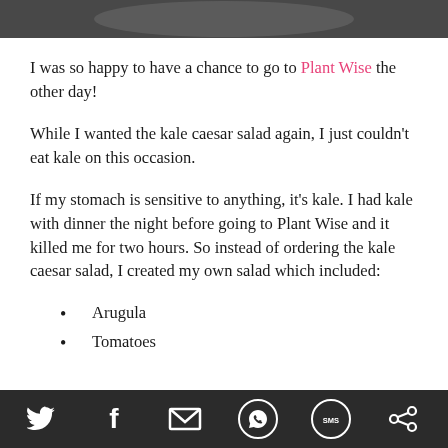[Figure (photo): Partial image at top of page, dark/gray tones]
I was so happy to have a chance to go to Plant Wise the other day!
While I wanted the kale caesar salad again, I just couldn't eat kale on this occasion.
If my stomach is sensitive to anything, it's kale. I had kale with dinner the night before going to Plant Wise and it killed me for two hours. So instead of ordering the kale caesar salad, I created my own salad which included:
Arugula
Tomatoes
Social share icons: Twitter, Facebook, Email, WhatsApp, SMS, Other